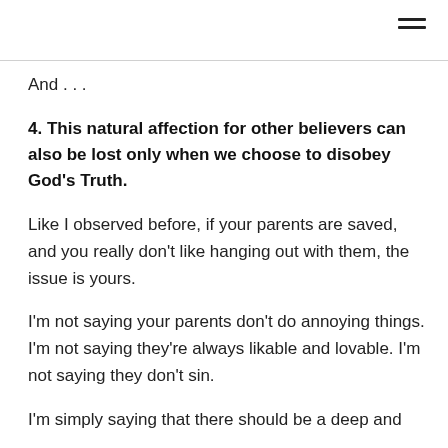And . . .
4. This natural affection for other believers can also be lost only when we choose to disobey God's Truth.
Like I observed before, if your parents are saved, and you really don't like hanging out with them, the issue is yours.
I'm not saying your parents don't do annoying things. I'm not saying they're always likable and lovable. I'm not saying they don't sin.
I'm simply saying that there should be a deep and